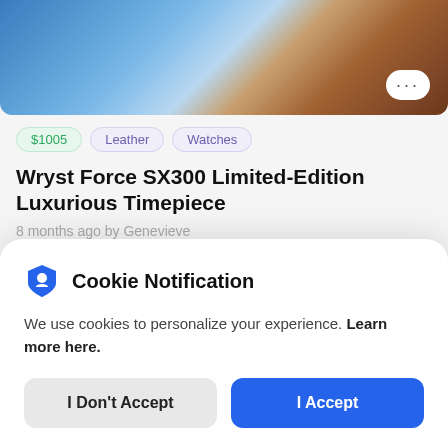[Figure (photo): Top portion of a product listing page showing a blue watch on a wooden surface, with a three-dot menu button overlaid.]
$1005  Leather  Watches
Wryst Force SX300 Limited-Edition Luxurious Timepiece
8 months ago by Genevieve
[Figure (photo): Partial second listing image showing a white/grey device and a dark rectangular object.]
Cookie Notification
We use cookies to personalize your experience. Learn more here.
I Don't Accept  I Accept